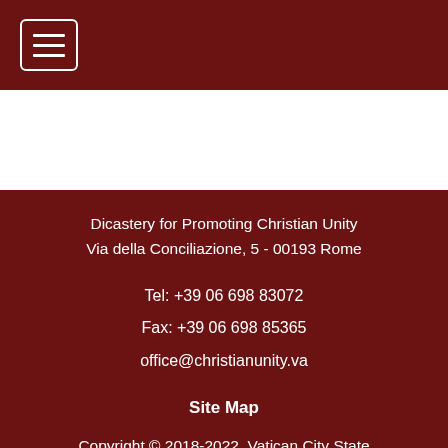Menu icon / navigation header
Dicastery for Promoting Christian Unity
Via della Conciliazione, 5 - 00193 Rome
Tel: +39 06 698 83072
Fax: +39 06 698 85365
office@christianunity.va
Site Map
Copyright © 2018-2022, Vatican City State
All rights reserved